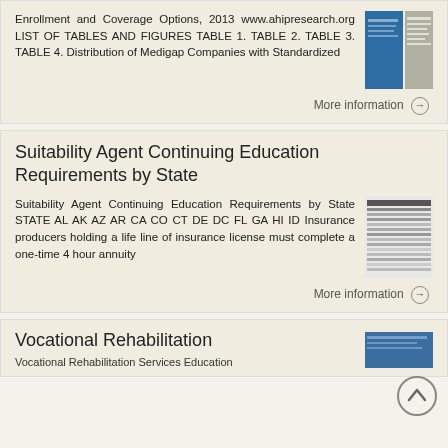Enrollment and Coverage Options, 2013 www.ahipresearch.org LIST OF TABLES AND FIGURES TABLE 1. TABLE 2. TABLE 3. TABLE 4. Distribution of Medigap Companies with Standardized
More information →
Suitability Agent Continuing Education Requirements by State
Suitability Agent Continuing Education Requirements by State STATE AL AK AZ AR CA CO CT DE DC FL GA HI ID Insurance producers holding a life line of insurance license must complete a one-time 4 hour annuity
More information →
Vocational Rehabilitation
Vocational Rehabilitation Services Education